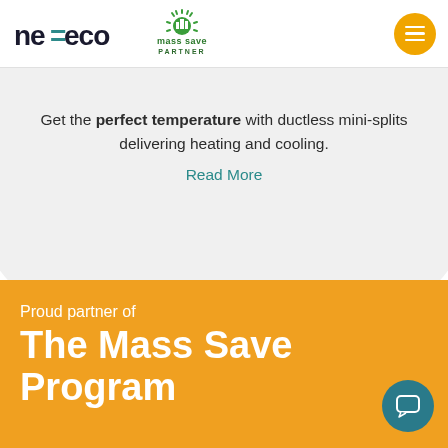[Figure (logo): ne=eco company logo in dark text with teal equals sign]
[Figure (logo): Mass Save Partner logo with green sunburst icon]
[Figure (other): Orange circular hamburger menu button]
Get the perfect temperature with ductless mini-splits delivering heating and cooling. Read More
Proud partner of The Mass Save Program